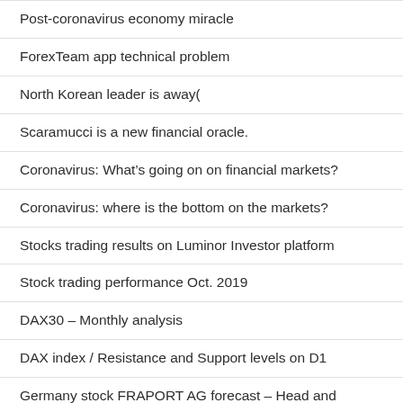Post-coronavirus economy miracle
ForexTeam app technical problem
North Korean leader is away(
Scaramucci is a new financial oracle.
Coronavirus: What’s going on on financial markets?
Coronavirus: where is the bottom on the markets?
Stocks trading results on Luminor Investor platform
Stock trading performance Oct. 2019
DAX30 – Monthly analysis
DAX index / Resistance and Support levels on D1
Germany stock FRAPORT AG forecast – Head and Shoulders pattern